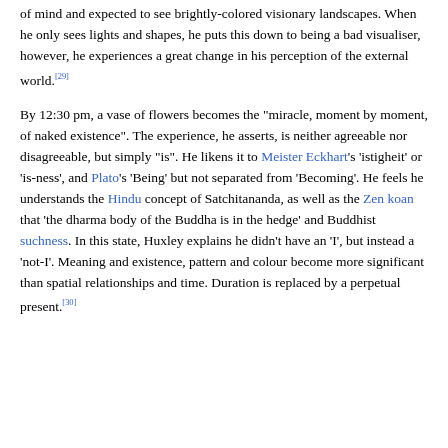of mind and expected to see brightly-colored visionary landscapes. When he only sees lights and shapes, he puts this down to being a bad visualiser, however, he experiences a great change in his perception of the external world.[29]
By 12:30 pm, a vase of flowers becomes the "miracle, moment by moment, of naked existence". The experience, he asserts, is neither agreeable nor disagreeable, but simply "is". He likens it to Meister Eckhart's 'istigheit' or 'is-ness', and Plato's 'Being' but not separated from 'Becoming'. He feels he understands the Hindu concept of Satchitananda, as well as the Zen koan that 'the dharma body of the Buddha is in the hedge' and Buddhist suchness. In this state, Huxley explains he didn't have an 'I', but instead a 'not-I'. Meaning and existence, pattern and colour become more significant than spatial relationships and time. Duration is replaced by a perpetual present.[30]